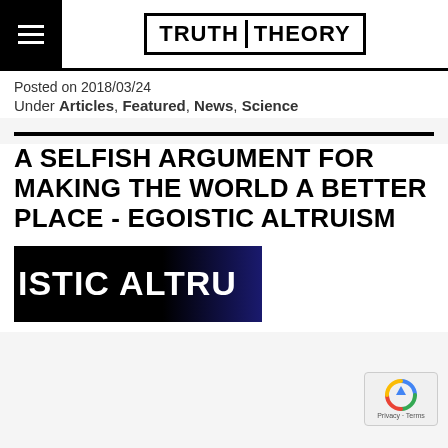TRUTH THEORY
Posted on 2018/03/24
Under Articles, Featured, News, Science
A SELFISH ARGUMENT FOR MAKING THE WORLD A BETTER PLACE - EGOISTIC ALTRUISM
[Figure (photo): Article thumbnail image showing text 'ISTIC ALTRU' in bold white letters on a dark background with black and dark blue gradient]
[Figure (other): reCAPTCHA privacy badge in bottom right corner]